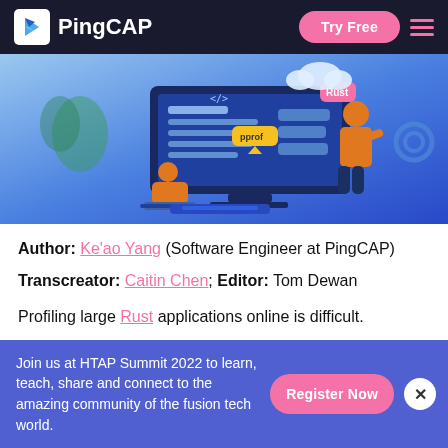PingCAP — Try Free
[Figure (illustration): Hero banner illustration showing a programmer sitting at a laptop and a standing person interacting with a large monitor displaying code. Decorative elements include a cloud, a gear, and speech bubbles labeled 'pprof' and 'Rust'. Background is a blue gradient.]
Author: Ke'ao Yang (Software Engineer at PingCAP)
Transcreator: Caitin Chen; Editor: Tom Dewan
Profiling large Rust applications online is difficult.
Join us at HTAP Summit 2022 to learn, teach, share and connect to the amazing community of the fusion tech world.